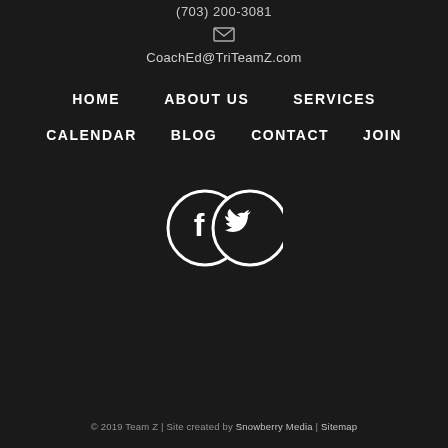(703) 200-3081
CoachEd@TriTeamZ.com
HOME
ABOUT US
SERVICES
CALENDAR
BLOG
CONTACT
JOIN
[Figure (illustration): Facebook and Twitter social media icons — two circular white-outlined icons on dark background, with white F and bird logos inside]
© 2019 Team Z | Site created by Snowberry Media | Sitemap